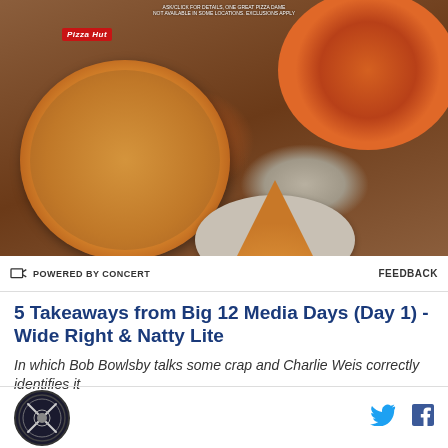[Figure (photo): Pizza Hut advertisement showing two whole pizzas and a slice on a plate on a wooden table surface]
POWERED BY CONCERT   FEEDBACK
5 Takeaways from Big 12 Media Days (Day 1) - Wide Right & Natty Lite
In which Bob Bowlsby talks some crap and Charlie Weis correctly identifies it
[Figure (logo): Wide Right & Natty Lite site logo - circular badge with crossed items]
Twitter and Facebook social share icons